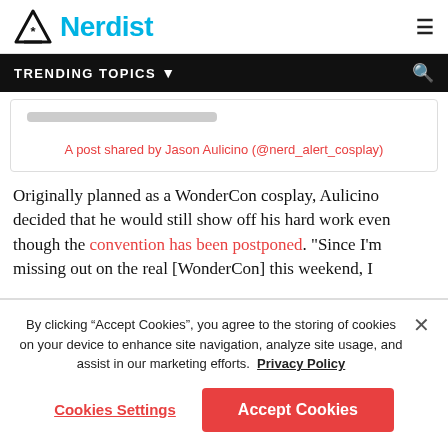Nerdist
TRENDING TOPICS
A post shared by Jason Aulicino (@nerd_alert_cosplay)
Originally planned as a WonderCon cosplay, Aulicino decided that he would still show off his hard work even though the convention has been postponed. “Since I’m missing out on the real [WonderCon] this weekend, I
By clicking “Accept Cookies”, you agree to the storing of cookies on your device to enhance site navigation, analyze site usage, and assist in our marketing efforts.  Privacy Policy
Cookies Settings
Accept Cookies